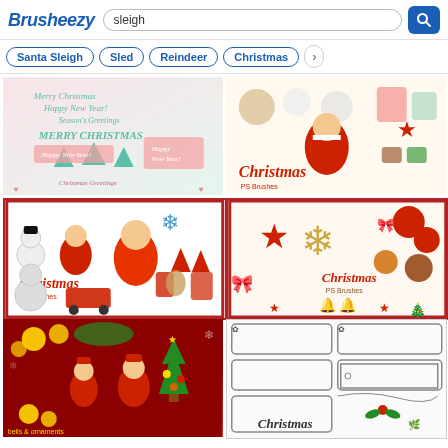Brusheezy — search: sleigh
Santa Sleigh
Sled
Reindeer
Christmas
[Figure (screenshot): Christmas/New Year greeting card brushes with script text: Merry Christmas, Happy New Year, Seasons Greetings, Christmas Greetings — pink and teal color scheme]
[Figure (screenshot): Christmas PS Brushes collection with Santa Claus, reindeer, snowman, Christmas tree, star, wreath icons on white background]
[Figure (screenshot): Christmas PS Brushes with Santa Claus, snowman, Christmas tree, stocking, gingerbread man, train, star icons — red border, white background]
[Figure (screenshot): Christmas PS Brushes with ornament balls, snowflake, star, bow, bells, gold and red decorations — red border, white/cream background]
[Figure (screenshot): Christmas PS Brushes with Santa Claus, bells, Christmas tree, ornaments on dark red background]
[Figure (screenshot): Christmas label/frame brushes with decorative borders and frames, holly decoration, script Christmas text — white background]